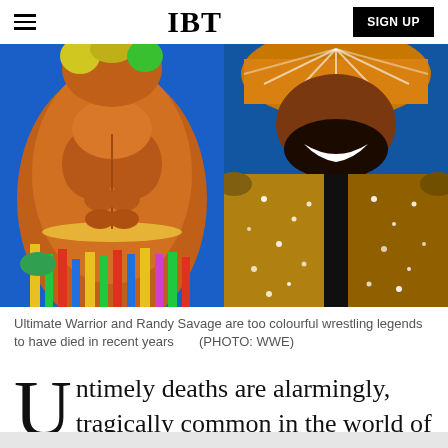IBT | SIGN UP
[Figure (photo): Two side-by-side photos: left shows Ultimate Warrior (muscular wrestler with colorful tassels on a blue background), right shows Randy Savage (wrestler in sparkly gold jacket and colorful hat, smiling)]
Ultimate Warrior and Randy Savage are too colourful wrestling legends to have died in recent years      (PHOTO: WWE)
Untimely deaths are alarmingly, tragically common in the world of wrestling.